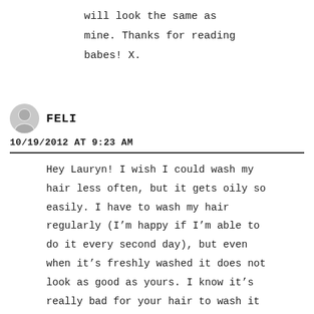will look the same as mine. Thanks for reading babes! X.
FELI
10/19/2012 AT 9:23 AM
Hey Lauryn! I wish I could wash my hair less often, but it gets oily so easily. I have to wash my hair regularly (I’m happy if I’m able to do it every second day), but even when it’s freshly washed it does not look as good as yours. I know it’s really bad for your hair to wash it every day, so I think you washing your hairy 2 or 3 times a week is